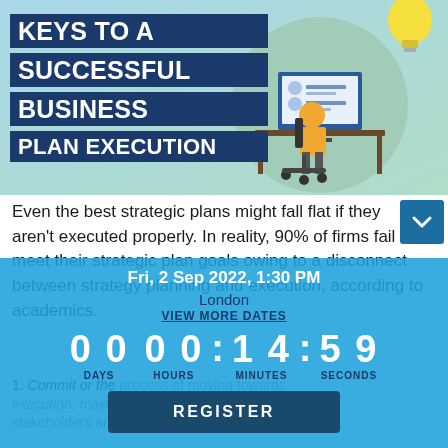[Figure (illustration): Banner image with dark blue title block reading 'KEYS TO A SUCCESSFUL BUSINESS PLAN EXECUTION' and an illustration of a person sitting at a desk with a computer monitor showing a profile/chart, with a lightbulb in the upper right, on a light teal/mint circular background.]
Even the best strategic plans might fall flat if they aren't executed properly. In reality, 90% of firms fail to meet their strategic plan goals owing to a disconnect between strategy planning and execution, according to academics.
Fri, 2 Sep 2022, 1:30 PM
London
VIEW MORE DATES
00  00 : 14 : 59
DAYS  HOURS  MINUTES  SECONDS
REGISTER
1. Commit or the process of moving towards execution, make sure all makers and stakeholders are aware and will be diligent.